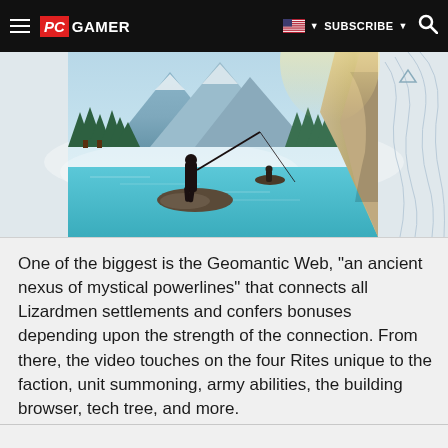PC GAMER | SUBSCRIBE
[Figure (photo): A person fishing on rocks beside a misty lake with mountains, pine trees, and a cave/cliff visible. Another person on a small boat is in the background. Topographic map lines visible on the right side.]
One of the biggest is the Geomantic Web, "an ancient nexus of mystical powerlines" that connects all Lizardmen settlements and confers bonuses depending upon the strength of the connection. From there, the video touches on the four Rites unique to the faction, unit summoning, army abilities, the building browser, tech tree, and more.